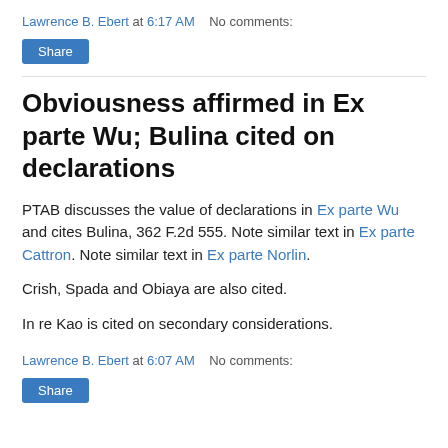Lawrence B. Ebert at 6:17 AM    No comments:
Share
Obviousness affirmed in Ex parte Wu; Bulina cited on declarations
PTAB discusses the value of declarations in Ex parte Wu and cites Bulina, 362 F.2d 555. Note similar text in Ex parte Cattron. Note similar text in Ex parte Norlin.
Crish, Spada and Obiaya are also cited.
In re Kao is cited on secondary considerations.
Lawrence B. Ebert at 6:07 AM    No comments:
Share